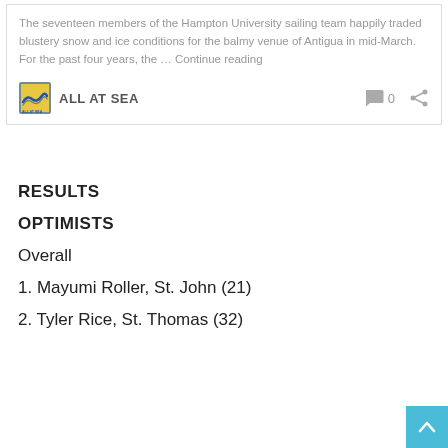The seventeen members of the Hampton University sailing team happily traded blustery snow and ice conditions for the balmy venue of Antigua in mid-March. For the past four years, the … Continue reading
[Figure (logo): All At Sea brand logo — wave icon in yellow/blue square with 'ALL AT SEA' text]
RESULTS
OPTIMISTS
Overall
1. Mayumi Roller, St. John (21)
2. Tyler Rice, St. Thomas (32)